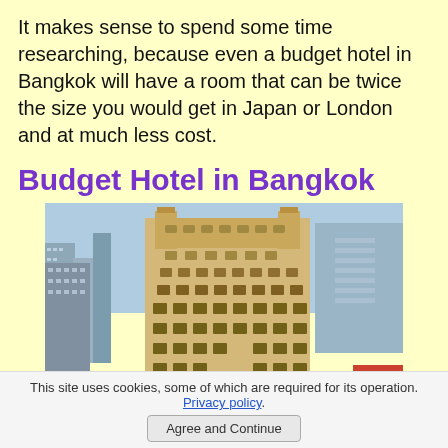It makes sense to spend some time researching, because even a budget hotel in Bangkok will have a room that can be twice the size you would get in Japan or London and at much less cost.
Budget Hotel in Bangkok
[Figure (photo): Aerial view of a large ornate hotel building in Bangkok city skyline with surrounding urban buildings and greenery]
This site uses cookies, some of which are required for its operation. Privacy policy.
Agree and Continue